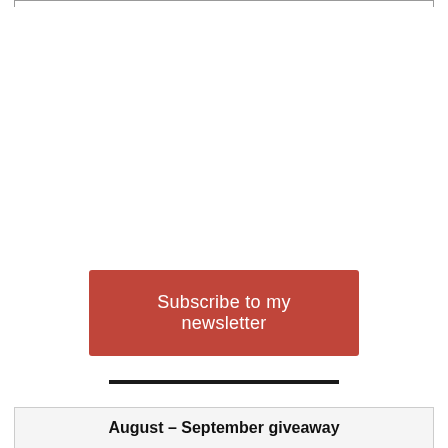[Figure (other): Top border box outline (partial box border at top of page)]
Subscribe to my newsletter
[Figure (other): Horizontal black divider line]
August – September giveaway